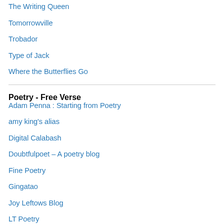The Writing Queen
Tomorrowville
Trobador
Type of Jack
Where the Butterflies Go
Poetry - Free Verse
Adam Penna : Starting from Poetry
amy king's alias
Digital Calabash
Doubtfulpoet – A poetry blog
Fine Poetry
Gingatao
Joy Leftows Blog
LT Poetry
my gorgeous somewhere
My Pecan Tree Poetry Blog
One Poet's Notes